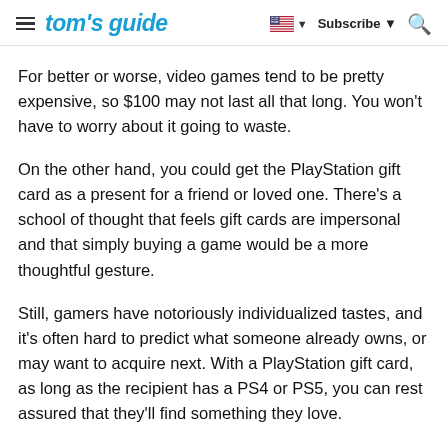tom's guide | Subscribe | Search
For better or worse, video games tend to be pretty expensive, so $100 may not last all that long. You won't have to worry about it going to waste.
On the other hand, you could get the PlayStation gift card as a present for a friend or loved one. There's a school of thought that feels gift cards are impersonal and that simply buying a game would be a more thoughtful gesture.
Still, gamers have notoriously individualized tastes, and it's often hard to predict what someone already owns, or may want to acquire next. With a PlayStation gift card, as long as the recipient has a PS4 or PS5, you can rest assured that they'll find something they love.